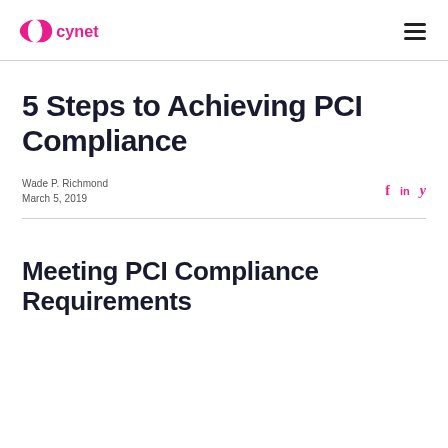cynet
5 Steps to Achieving PCI Compliance
Wade P. Richmond
March 5, 2019
Meeting PCI Compliance Requirements